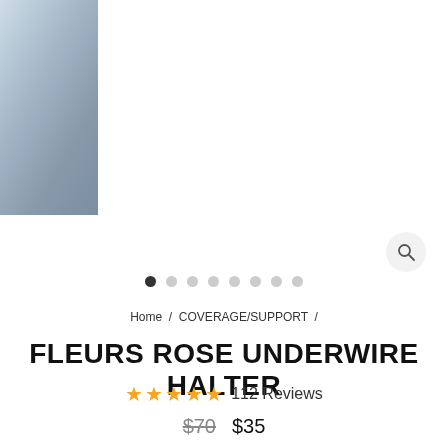[Figure (photo): Product photo of Fleurs Rose Underwire Halter swimwear, partially visible on left side of page]
[Figure (other): Carousel navigation dots — 8 dots with first dot filled/active]
Home / COVERAGE/SUPPORT /
FLEURS ROSE UNDERWIRE HALTER
★★★★★ 112 Reviews
$70  $35
SIZE    COLOUR